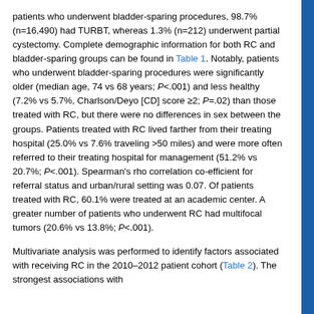patients who underwent bladder-sparing procedures, 98.7% (n=16,490) had TURBT, whereas 1.3% (n=212) underwent partial cystectomy. Complete demographic information for both RC and bladder-sparing groups can be found in Table 1. Notably, patients who underwent bladder-sparing procedures were significantly older (median age, 74 vs 68 years; P<.001) and less healthy (7.2% vs 5.7%, Charlson/Deyo [CD] score ≥2; P=.02) than those treated with RC, but there were no differences in sex between the groups. Patients treated with RC lived farther from their treating hospital (25.0% vs 7.6% traveling >50 miles) and were more often referred to their treating hospital for management (51.2% vs 20.7%; P<.001). Spearman's rho correlation co-efficient for referral status and urban/rural setting was 0.07. Of patients treated with RC, 60.1% were treated at an academic center. A greater number of patients who underwent RC had multifocal tumors (20.6% vs 13.8%; P<.001).
Multivariate analysis was performed to identify factors associated with receiving RC in the 2010–2012 patient cohort (Table 2). The strongest associations with